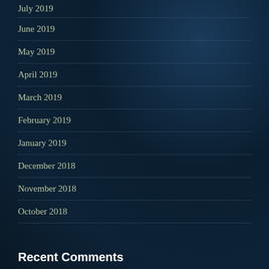July 2019
June 2019
May 2019
April 2019
March 2019
February 2019
January 2019
December 2018
November 2018
October 2018
Recent Comments